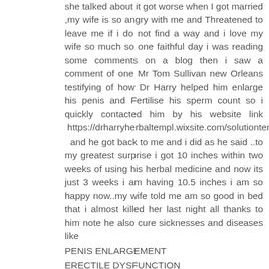she talked about it got worse when I got married ,my wife is so angry with me and Threatened to leave me if i do not find a way and i love my wife so much so one faithful day i was reading some comments on a blog then i saw a comment of one Mr Tom Sullivan new Orleans testifying of how Dr Harry helped him enlarge his penis and Fertilise his sperm count so i quickly contacted him by his website link https://drharryherbaltempl.wixsite.com/solutiontemple and he got back to me and i did as he said ..to my greatest surprise i got 10 inches within two weeks of using his herbal medicine and now its just 3 weeks i am having 10.5 inches i am so happy now..my wife told me am so good in bed that i almost killed her last night all thanks to him note he also cure sicknesses and diseases like
PENIS ENLARGEMENT
ERECTILE DYSFUNCTION
DIABETES type 1 and type 2
HERPES GENITAL WART
LOW SPERM COUNT
WEAK ERECTION